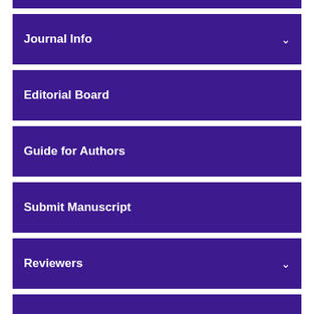Journal Info
Editorial Board
Guide for Authors
Submit Manuscript
Reviewers
Contact Us
Portfolio Selection by a Non-Radial DEA Model: Its application